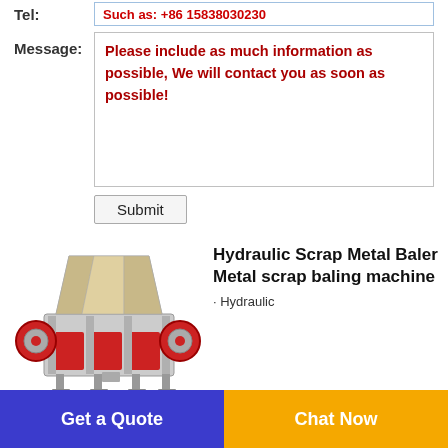Tel:
Such as: +86 15838030230
Message:
Please include as much information as possible, We will contact you as soon as possible!
Submit
[Figure (photo): Hydraulic Scrap Metal Baler machine — red and grey industrial baling equipment with hopper on top]
Hydraulic Scrap Metal Baler Metal scrap baling machine
Hydraulic
Get a Quote
Chat Now